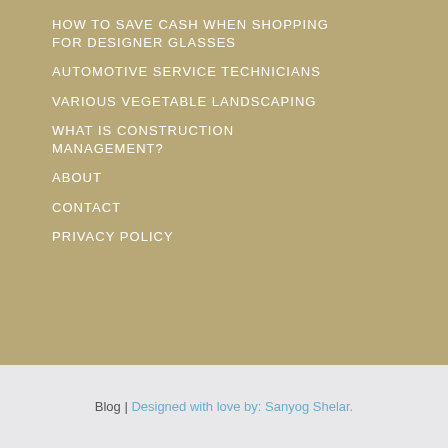HOW TO SAVE CASH WHEN SHOPPING FOR DESIGNER GLASSES
AUTOMOTIVE SERVICE TECHNICIANS
VARIOUS VEGETABLE LANDSCAPING
WHAT IS CONSTRUCTION MANAGEMENT?
ABOUT
CONTACT
PRIVACY POLICY
Blog | Designed with love by: Sanyog Shelar.